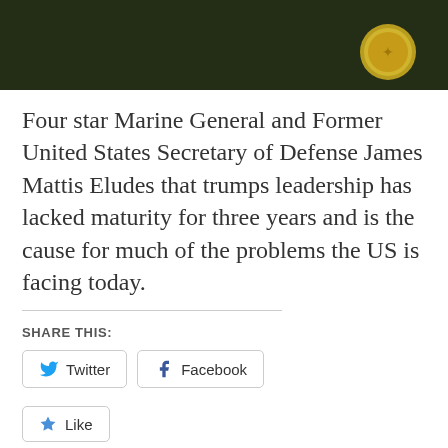[Figure (photo): Cropped photo of a military officer in dark olive/green uniform with a gold badge visible on the right side of the chest]
Four star Marine General and Former United States Secretary of Defense James Mattis Eludes that trumps leadership has lacked maturity for three years and is the cause for much of the problems the US is facing today.
SHARE THIS:
Twitter  Facebook
Like
Be the first to like this.